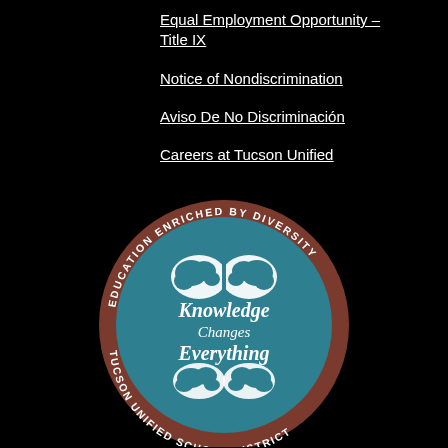Equal Employment Opportunity – Title IX
Notice of Nondiscrimination
Aviso De No Discriminación
Careers at Tucson Unified
[Figure (logo): Tucson Unified School District circular seal logo with a brain illustration and the text 'Knowledge Changes Everything' in the center, surrounded by the text 'EDUCATION ENRICHED BY DIVERSITY' and 'TUCSON UNIFIED SCHOOL DISTRICT' on a teal and brown circular border.]